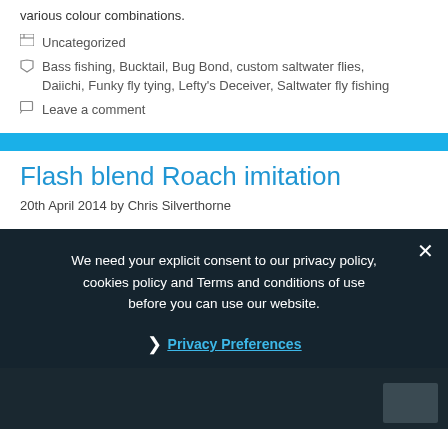various colour combinations.
Uncategorized
Bass fishing, Bucktail, Bug Bond, custom saltwater flies, Daiichi, Funky fly tying, Lefty's Deceiver, Saltwater fly fishing
Leave a comment
Flash blend Roach imitation
20th April 2014 by Chris Silverthorne
We need your explicit consent to our privacy policy, cookies policy and Terms and conditions of use before you can use our website.
Privacy Preferences
I Agree